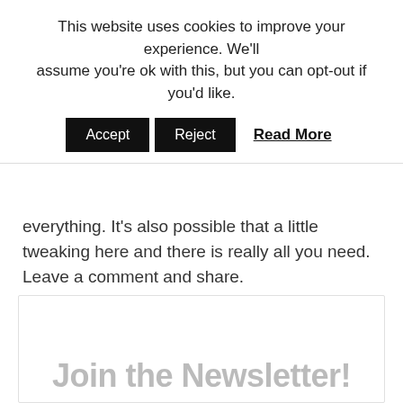This website uses cookies to improve your experience. We'll assume you're ok with this, but you can opt-out if you'd like.
Accept | Reject | Read More
everything. It's also possible that a little tweaking here and there is really all you need. Leave a comment and share.
Thanks so much for visiting and remember to keep an eye out for your first challenge in a few days. In the meantime, have an awesome weekend!
Join the Newsletter!